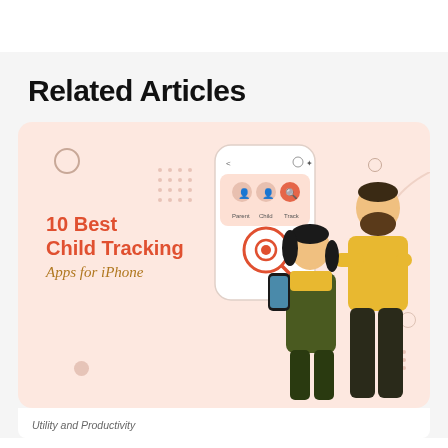Related Articles
[Figure (illustration): Article card thumbnail showing an illustration of a child and parent with a smartphone mockup displaying a child tracking app interface. Text overlay reads '10 Best Child Tracking Apps for iPhone' in bold orange and script fonts. Background is light peach/salmon color with decorative circles and dot patterns.]
Utility and Productivity